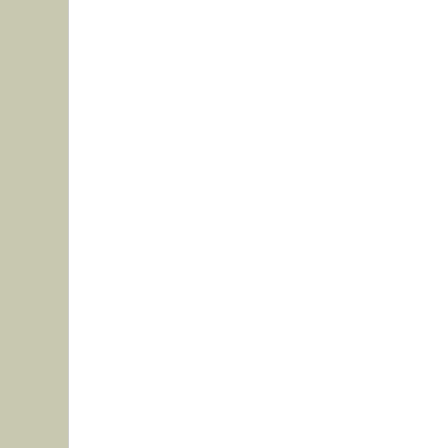Thread: Very Happy
Threa
10-04-2005, 04:18 PM
RXDI2
Join Date: May 2005
Location: Bristol, WI
Posts: 121